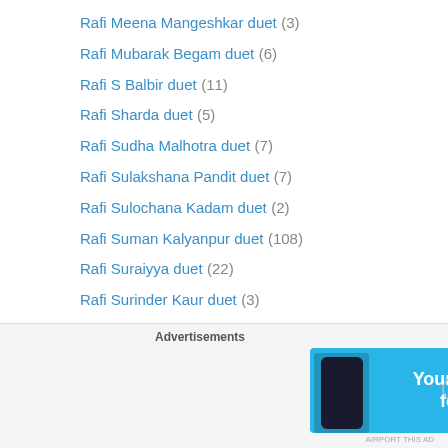Rafi Meena Mangeshkar duet (3)
Rafi Mubarak Begam duet (6)
Rafi S Balbir duet (11)
Rafi Sharda duet (5)
Rafi Sudha Malhotra duet (7)
Rafi Sulakshana Pandit duet (7)
Rafi Sulochana Kadam duet (2)
Rafi Suman Kalyanpur duet (108)
Rafi Suraiyya duet (22)
Rafi Surinder Kaur duet (3)
Rafi Usha Khanna duet (6)
Rafi Usha Mangeshkar duet (6)
Rafi- Minu Purushottam duet (1)
Rafi-Asha Bhonsle duet (554)
Rafi-Geeta Dutt duet (113)
Rafi-Kishore Kumar duet (19)
Advertisements
[Figure (other): Advertisement banner for Day One journal app with blue background and text 'Your Journal for life']